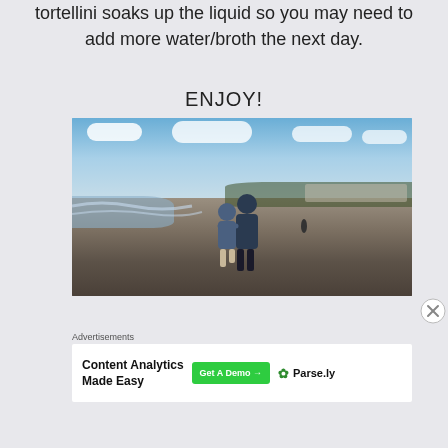tortellini soaks up the liquid so you may need to add more water/broth the next day.
ENJOY!
[Figure (photo): Two people hugging and walking on a beach, viewed from behind. Sky with clouds visible, trees and buildings in background on the right, water/waves on the left.]
Advertisements
[Figure (other): Advertisement banner: Content Analytics Made Easy — Get A Demo button — Parse.ly logo]